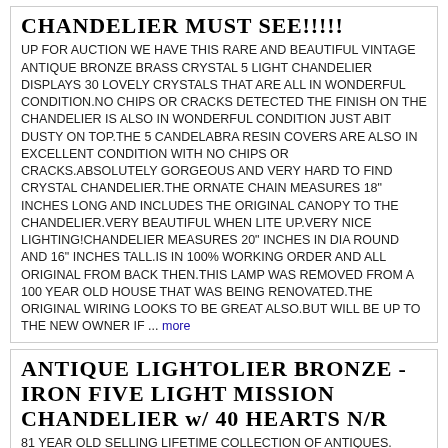CHANDELIER MUST SEE!!!!!
UP FOR AUCTION WE HAVE THIS RARE AND BEAUTIFUL VINTAGE ANTIQUE BRONZE BRASS CRYSTAL 5 LIGHT CHANDELIER DISPLAYS 30 LOVELY CRYSTALS THAT ARE ALL IN WONDERFUL CONDITION.NO CHIPS OR CRACKS DETECTED THE FINISH ON THE CHANDELIER IS ALSO IN WONDERFUL CONDITION JUST ABIT DUSTY ON TOP.THE 5 CANDELABRA RESIN COVERS ARE ALSO IN EXCELLENT CONDITION WITH NO CHIPS OR CRACKS.ABSOLUTELY GORGEOUS AND VERY HARD TO FIND CRYSTAL CHANDELIER.THE ORNATE CHAIN MEASURES 18" INCHES LONG AND INCLUDES THE ORIGINAL CANOPY TO THE CHANDELIER.VERY BEAUTIFUL WHEN LITE UP.VERY NICE LIGHTING!CHANDELIER MEASURES 20" INCHES IN DIA ROUND AND 16" INCHES TALL.IS IN 100% WORKING ORDER AND ALL ORIGINAL FROM BACK THEN.THIS LAMP WAS REMOVED FROM A 100 YEAR OLD HOUSE THAT WAS BEING RENOVATED.THE ORIGINAL WIRING LOOKS TO BE GREAT ALSO.BUT WILL BE UP TO THE NEW OWNER IF ... more
ANTIQUE LIGHTOLIER BRONZE - IRON FIVE LIGHT MISSION CHANDELIER w/ 40 HEARTS N/R
81 YEAR OLD SELLING LIFETIME COLLECTION OF ANTIQUES. COLLECTABLES, AND UNIQUE ITEMS. I LIST IN LARGE SCRIPT BECAUSE OF MY AND OTHER PEOPLES EYE PROBLEMS. I AM NOT SHOUTING AS ONE LADY ACCUSED ME OF DOING! I ACCEPT PAYPAL. PERSONAL CHECKS, U.S. POSTAL CHECKS. PAYPAL ONLY ON OVERSEAS ITEMS] I SHIP U.S.A AND WORLDWIDE EXCEPT ON HEAVY ITEMS. SHIPPING FROM MONTGOMERY ALABAMA 36111. YOU CAN EMAIL ME A OFFER AND I WILL